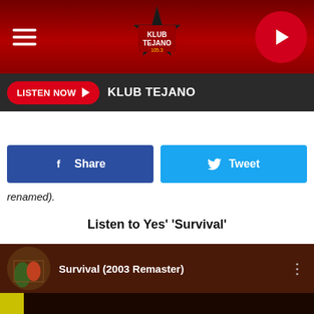[Figure (screenshot): Klub Tejano 105.3 radio station website header with dark red gradient background, hamburger menu icon on left, Klub Tejano star logo in center, and red play button circle on right]
[Figure (screenshot): Listen Now button in red with play arrow, followed by KLUB TEJANO station name text on dark background bar]
[Figure (screenshot): Facebook Share button in dark blue and Twitter Tweet button in light blue, side by side]
renamed).
Listen to Yes' 'Survival'
[Figure (screenshot): YouTube video embed showing Survival (2003 Remaster) with album art of a brain-like orange and blue illustration, red YouTube play button in center, DELUX vertical text label on left side in yellow]